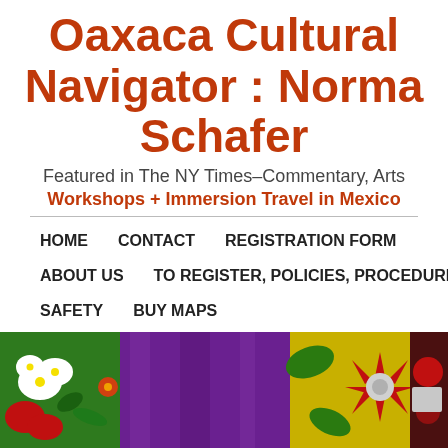Oaxaca Cultural Navigator : Norma Schafer
Featured in The NY Times–Commentary, Arts
Workshops + Immersion Travel in Mexico
HOME   CONTACT   REGISTRATION FORM   ABOUT US   TO REGISTER, POLICIES, PROCEDURES   SAFETY   BUY MAPS
[Figure (photo): Colorful floral arrangement banner with purple, red, yellow, and green flowers and decorative items]
SEARCH BY   ← Natural Dyes   3-Day Pop Up   Our